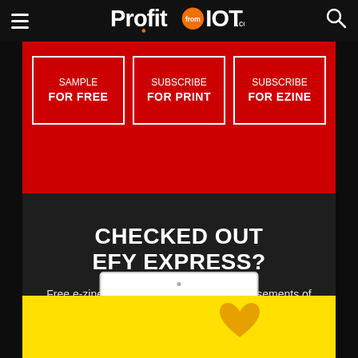ProfitfromIOT.com
SAMPLE FOR FREE
SUBSCRIBE FOR PRINT
SUBSCRIBE FOR EZINE
CHECKED OUT EFY EXPRESS?
Free e-zine with select content and advertisements of Electronics For You.
[Figure (screenshot): EFY Express e-zine tablet mockup with yellow background and heart icon]